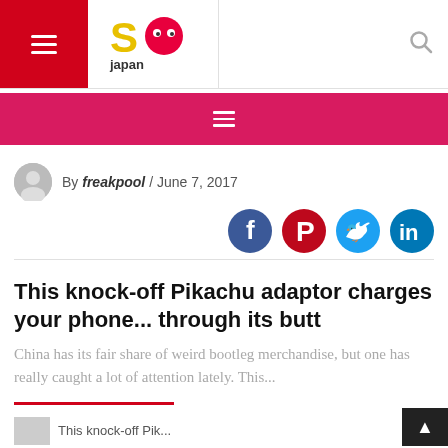So Japan — navigation bar with hamburger menu and search icon
[Figure (screenshot): Pink navigation menu bar with hamburger icon (three white lines)]
By freakpool / June 7, 2017
[Figure (infographic): Social share icons: Facebook (dark blue), Pinterest (red), Twitter (light blue), LinkedIn (dark blue)]
This knock-off Pikachu adaptor charges your phone... through its butt
China has its fair share of weird bootleg merchandise, but one has really caught a lot of attention lately. This...
[Figure (photo): Thumbnail image teaser at bottom of page]